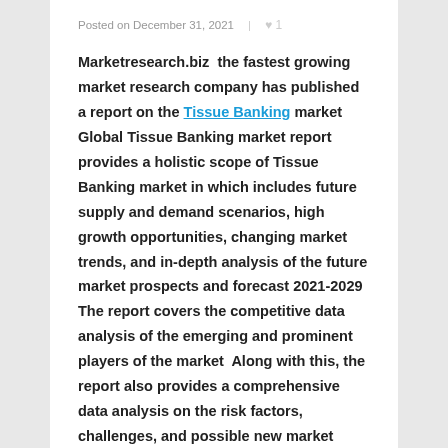Posted on December 31, 2021  ♥ 1
Marketresearch.biz the fastest growing market research company has published a report on the Tissue Banking market. Global Tissue Banking market report provides a holistic scope of Tissue Banking market in which includes future supply and demand scenarios, high growth opportunities, changing market trends, and in-depth analysis of the future market prospects and forecast 2021-2029. The report covers the competitive data analysis of the emerging and prominent players of the market. Along with this, the report also provides a comprehensive data analysis on the risk factors, challenges, and possible new market